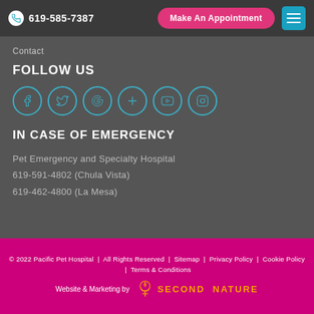619-585-7387 | Make An Appointment
Contact
FOLLOW US
[Figure (other): Six social media icon buttons (Facebook, Twitter, Google, Yelp, YouTube, Instagram) rendered as teal circle outlines]
IN CASE OF EMERGENCY
Pet Emergency and Specialty Hospital
619-591-4802 (Chula Vista)
619-462-4800 (La Mesa)
© 2022 Pacific Pet Hospital | All Rights Reserved | Sitemap | Privacy Policy | Cookie Policy | Terms & Conditions
Website & Marketing by SECOND NATURE